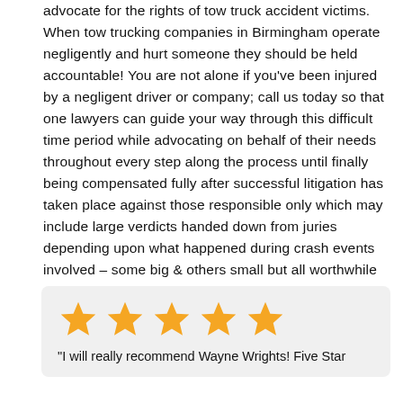advocate for the rights of tow truck accident victims. When tow trucking companies in Birmingham operate negligently and hurt someone they should be held accountable! You are not alone if you've been injured by a negligent driver or company; call us today so that one lawyers can guide your way through this difficult time period while advocating on behalf of their needs throughout every step along the process until finally being compensated fully after successful litigation has taken place against those responsible only which may include large verdicts handed down from juries depending upon what happened during crash events involved – some big & others small but all worthwhile when fighting back.
[Figure (other): Five gold star rating icons in a horizontal row]
"I will really recommend Wayne Wrights! Five Star